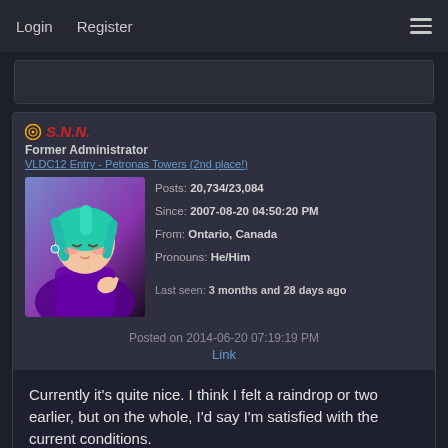Login   Register
[Figure (screenshot): Previous post stub, partially visible]
S.N.N.
Former Administrator
VLDC12 Entry - Petronas Towers (2nd place!)
[Figure (illustration): Avatar: animated-style character with teal hair wearing purple]
Posts: 20,734/23,084
Since: 2007-08-20 04:50:20 PM
From: Ontario, Canada
Pronouns: He/Him

Last seen: 3 months and 28 days ago
Posted on 2014-06-20 07:19:19 PM
Link
Currently it's quite nice. I think I felt a raindrop or two earlier, but on the whole, I'd say I'm satisfied with the current conditions.

How's life in wherever-the-fuck-you-are (Michigan??)